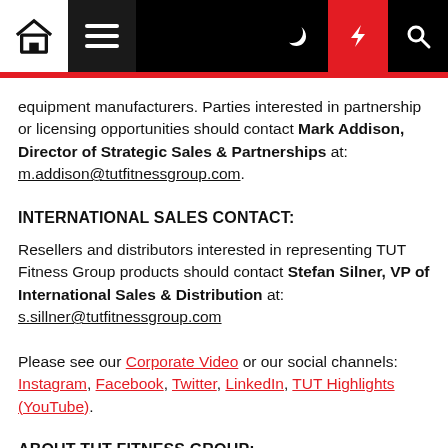Navigation bar with home, menu, moon, bolt, and search icons
equipment manufacturers. Parties interested in partnership or licensing opportunities should contact Mark Addison, Director of Strategic Sales & Partnerships at: m.addison@tutfitnessgroup.com.
INTERNATIONAL SALES CONTACT:
Resellers and distributors interested in representing TUT Fitness Group products should contact Stefan Silner, VP of International Sales & Distribution at: s.sillner@tutfitnessgroup.com
Please see our Corporate Video or our social channels: Instagram, Facebook, Twitter, LinkedIn, TUT Highlights (YouTube).
ABOUT TUT FITNESS GROUP:
TUT is a Vancouver-based Canadian manufacturer of high-performance and affordable fitness